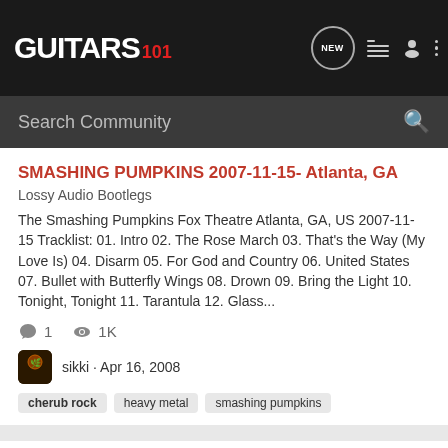GUITARS 101
SMASHING PUMPKINS 2007-11-15- Atlanta, GA
Lossy Audio Bootlegs
The Smashing Pumpkins Fox Theatre Atlanta, GA, US 2007-11-15 Tracklist: 01. Intro 02. The Rose March 03. That's the Way (My Love Is) 04. Disarm 05. For God and Country 06. United States 07. Bullet with Butterfly Wings 08. Drown 09. Bring the Light 10. Tonight, Tonight 11. Tarantula 12. Glass...
1  1K
sikki · Apr 16, 2008
cherub rock  heavy metal  smashing pumpkins
The Smashing Pumpkins - 1997-01-06 Key Arena; Seattle, WA Soundcheck